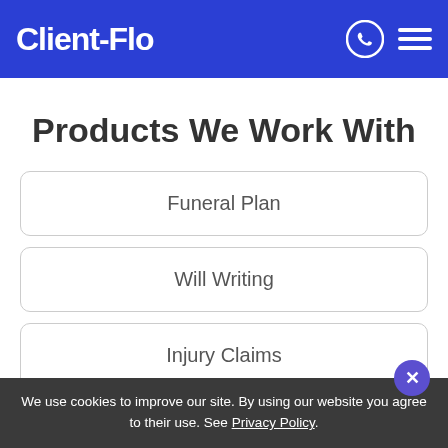Client-Flo
Products We Work With
Funeral Plan
Will Writing
Injury Claims
Mis-Sold Pension
We use cookies to improve our site. By using our website you agree to their use. See Privacy Policy.